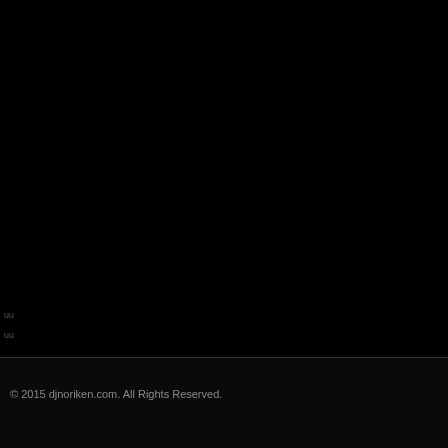uu
uu
© 2015 djnoriken.com. All Rights Reserved.